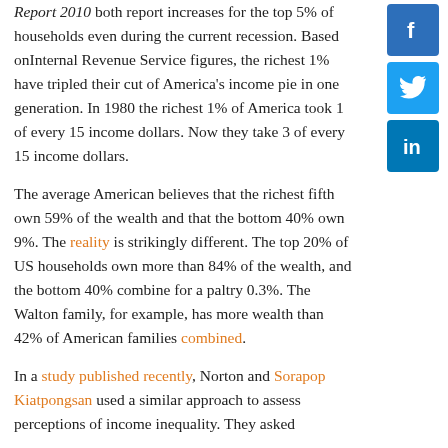Report 2010 both report increases for the top 5% of households even during the current recession. Based on Internal Revenue Service figures, the richest 1% have tripled their cut of America's income pie in one generation. In 1980 the richest 1% of America took 1 of every 15 income dollars. Now they take 3 of every 15 income dollars.
The average American believes that the richest fifth own 59% of the wealth and that the bottom 40% own 9%. The reality is strikingly different. The top 20% of US households own more than 84% of the wealth, and the bottom 40% combine for a paltry 0.3%. The Walton family, for example, has more wealth than 42% of American families combined.
In a study published recently, Norton and Sorapop Kiatpongsan used a similar approach to assess perceptions of income inequality. They asked